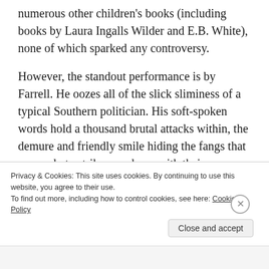numerous other children's books (including books by Laura Ingalls Wilder and E.B. White), none of which sparked any controversy.
However, the standout performance is by Farrell. He oozes all of the slick sliminess of a typical Southern politician. His soft-spoken words hold a thousand brutal attacks within, the demure and friendly smile hiding the fangs that are ready to strike you down with their poisonous barbs. He does such a great job
Privacy & Cookies: This site uses cookies. By continuing to use this website, you agree to their use.
To find out more, including how to control cookies, see here: Cookie Policy